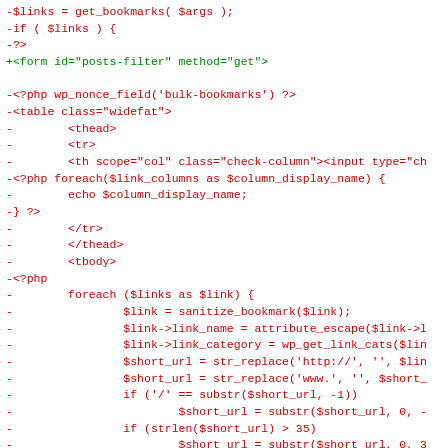[Figure (screenshot): Code diff showing PHP/HTML code with removed lines in red and added lines in green. Shows WordPress bookmark/link management code.]